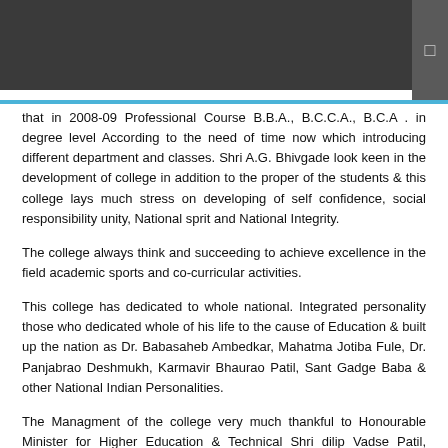that in 2008-09 Professional Course B.B.A., B.C.C.A., B.C.A . in degree level According to the need of time now which introducing different department and classes. Shri A.G. Bhivgade look keen in the development of college in addition to the proper of the students & this college lays much stress on developing of self confidence, social responsibility unity, National sprit and National Integrity.
The college always think and succeeding to achieve excellence in the field academic sports and co-curricular activities.
This college has dedicated to whole national. Integrated personality those who dedicated whole of his life to the cause of Education & built up the nation as Dr. Babasaheb Ambedkar, Mahatma Jotiba Fule, Dr. Panjabrao Deshmukh, Karmavir Bhaurao Patil, Sant Gadge Baba & other National Indian Personalities.
The Managment of the college very much thankful to Honourable Minister for Higher Education & Technical Shri dilip Vadse Patil, Minister for State Water Supply Smt.